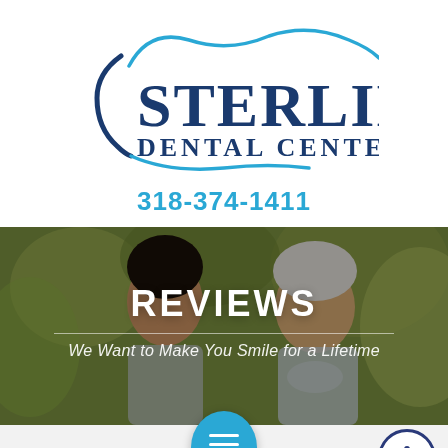[Figure (logo): Sterling Dental Center logo with tooth/wave graphic in navy blue and light blue]
318-374-1411
[Figure (photo): Two smiling men (younger with glasses, older with white beard) outdoors with bokeh green background]
REVIEWS
We Want to Make You Smile for a Lifetime
They have the est staff that